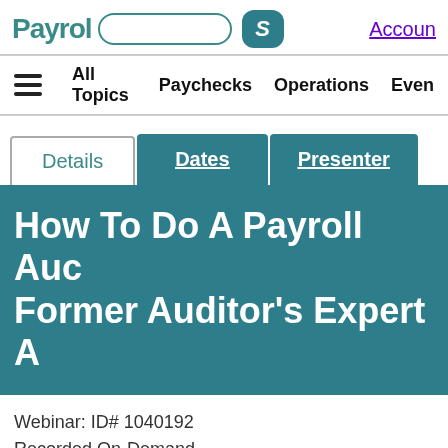Payroll  Account
All Topics  Paychecks  Operations  Even
Details  Dates  Presenter
How To Do A Payroll Auc Former Auditor's Expert A
Webinar: ID# 1040192
Recorded On-Demand
Qty: 1